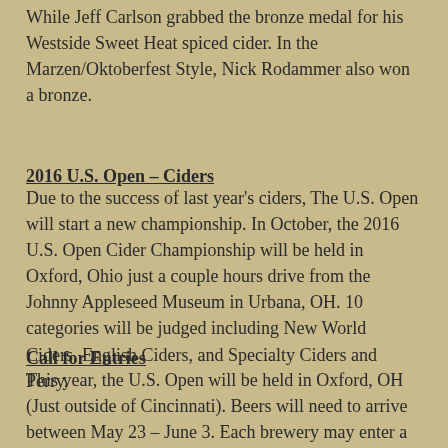While Jeff Carlson grabbed the bronze medal for his Westside Sweet Heat spiced cider. In the Marzen/Oktoberfest Style, Nick Rodammer also won a bronze.
2016 U.S. Open – Ciders
Due to the success of last year's ciders, The U.S. Open will start a new championship. In October, the 2016 U.S. Open Cider Championship will be held in Oxford, Ohio just a couple hours drive from the Johnny Appleseed Museum in Urbana, OH. 10 categories will be judged including New World Ciders, English Ciders, and Specialty Ciders and Perry.
Call for Entries
This year, the U.S. Open will be held in Oxford, OH (Just outside of Cincinnati). Beers will need to arrive between May 23 – June 3. Each brewery may enter a maximum of 10 beers. Entry fee will be $60 per beer/root beer. A brewery must submit a minimum of 5 beers to be considered one of the Top Ten Breweries. Entry Forms and Rules can be found on